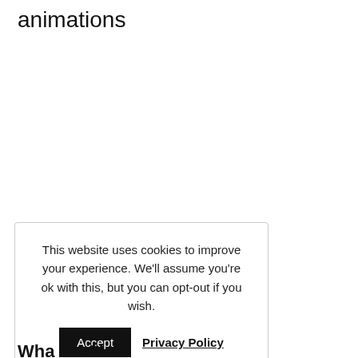animations
This website uses cookies to improve your experience. We'll assume you're ok with this, but you can opt-out if you wish.
Accept   Privacy Policy
Wha the N...